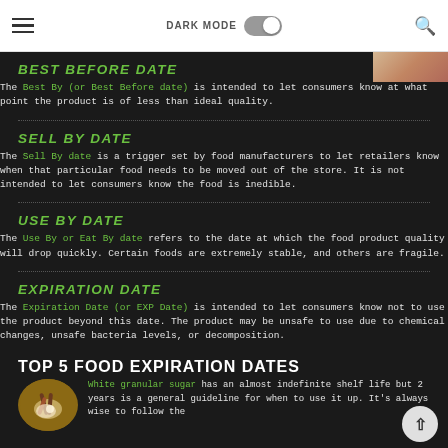☰  DARK MODE [toggle]  🔍
BEST BEFORE DATE
The Best By (or Best Before date) is intended to let consumers know at what point the product is of less than ideal quality.
SELL BY DATE
The Sell By date is a trigger set by food manufacturers to let retailers know when that particular food needs to be moved out of the store. It is not intended to let consumers know the food is inedible.
USE BY DATE
The Use By or Eat By date refers to the date at which the food product quality will drop quickly. Certain foods are extremely stable, and others are fragile.
EXPIRATION DATE
The Expiration Date (or EXP Date) is intended to let consumers know not to use the product beyond this date. The product may be unsafe to use due to chemical changes, unsafe bacteria levels, or decomposition.
TOP 5 FOOD EXPIRATION DATES
White granular sugar has an almost indefinite shelf life but 2 years is a general guideline for when to use it up. It's always wise to follow the